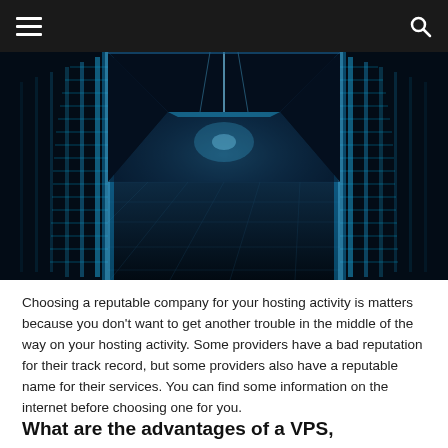navigation header with hamburger menu and search icon
[Figure (photo): A server room corridor with rows of tall illuminated server racks lit in blue neon light, perspective view down the center aisle with reflective floor tiles]
Choosing a reputable company for your hosting activity is matters because you don’t want to get another trouble in the middle of the way on your hosting activity. Some providers have a bad reputation for their track record, but some providers also have a reputable name for their services. You can find some information on the internet before choosing one for you.
What are the advantages of a VPS,